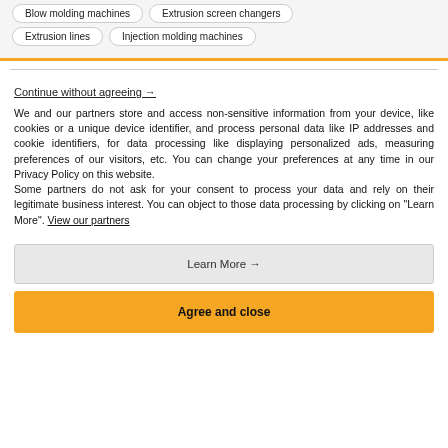Blow molding machines
Extrusion screen changers
Extrusion lines
Injection molding machines
Continue without agreeing →
We and our partners store and access non-sensitive information from your device, like cookies or a unique device identifier, and process personal data like IP addresses and cookie identifiers, for data processing like displaying personalized ads, measuring preferences of our visitors, etc. You can change your preferences at any time in our Privacy Policy on this website.
Some partners do not ask for your consent to process your data and rely on their legitimate business interest. You can object to those data processing by clicking on "Learn More". View our partners
Learn More →
Agree and close